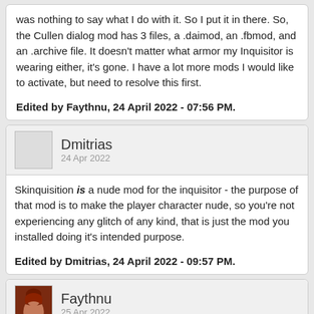was nothing to say what I do with it.  So I put it in there.  So, the Cullen dialog mod has 3 files, a .daimod, an .fbmod, and an .archive file.  It doesn't matter what armor my Inquisitor is wearing either, it's gone. I have a lot more mods I would like to activate, but need to resolve this first.
Edited by Faythnu, 24 April 2022 - 07:56 PM.
Dmitrias
24 Apr 2022
Skinquisition is a nude mod for the inquisitor - the purpose of that mod is to make the player character nude, so you're not experiencing any glitch of any kind, that is just the mod you installed doing it's intended purpose.
Edited by Dmitrias, 24 April 2022 - 09:57 PM.
Faythnu
25 Apr 2022
Ah, ok.   I'll take that one out then.  I misread it as a skin texture mod not a nude mod, my mistake.   Thanks for figuring that out for me.